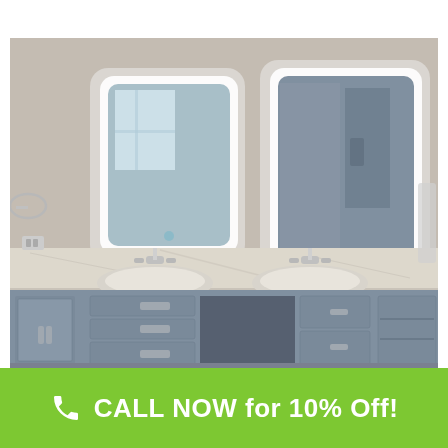[Figure (photo): Bathroom with double vanity featuring gray cabinetry with chrome handles, white marble countertop with two undermount sinks, and two large LED backlit mirrors mounted on a beige/gray wall.]
CALL NOW for 10% Off!